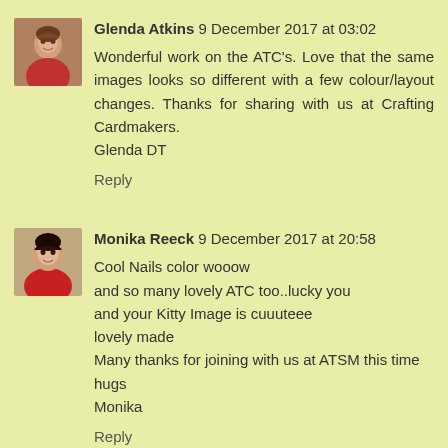[Figure (photo): Avatar photo of Glenda Atkins, a woman in a red top]
Glenda Atkins 9 December 2017 at 03:02
Wonderful work on the ATC's. Love that the same images looks so different with a few colour/layout changes. Thanks for sharing with us at Crafting Cardmakers.
Glenda DT
Reply
[Figure (photo): Avatar photo of Monika Reeck, a woman with dark hair in a red top]
Monika Reeck 9 December 2017 at 20:58
Cool Nails color wooow
and so many lovely ATC too..lucky you
and your Kitty Image is cuuuteee
lovely made
Many thanks for joining with us at ATSM this time
hugs
Monika
Reply
[Figure (photo): Partial avatar photo of Elaine Sterk]
Elaine Sterk 9 December 2017 at 21:02